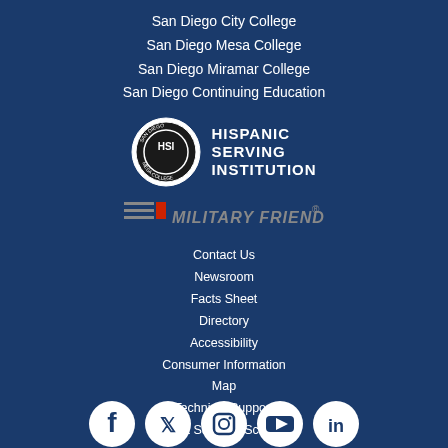San Diego City College
San Diego Mesa College
San Diego Miramar College
San Diego Continuing Education
[Figure (logo): Hispanic Serving Institution logo with circular emblem and HSI text]
[Figure (logo): Military Friendly logo with MF icon and text]
Contact Us
Newsroom
Facts Sheet
Directory
Accessibility
Consumer Information
Map
Technical Support
Student Success Scorecard
[Figure (logo): Social media icons: Facebook, Twitter, Instagram, YouTube, LinkedIn]